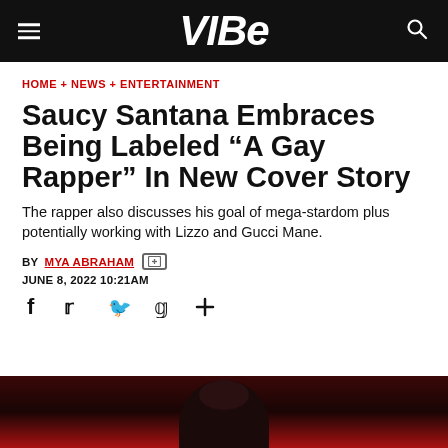VIBE
HOME + NEWS + ENTERTAINMENT
Saucy Santana Embraces Being Labeled “A Gay Rapper” In New Cover Story
The rapper also discusses his goal of mega-stardom plus potentially working with Lizzo and Gucci Mane.
BY MYA ABRAHAM
JUNE 8, 2022 10:21AM
[Figure (photo): Bottom portion of page showing dark background with partial figure of a person, red tinted background]